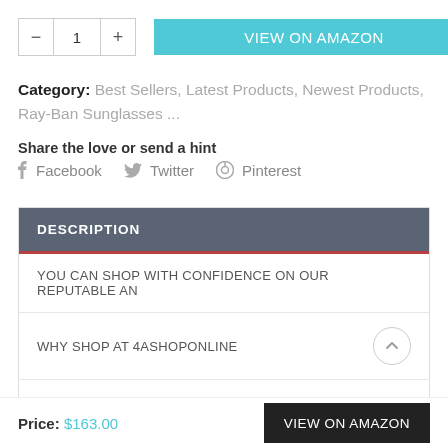[Figure (other): Quantity selector with minus button, '1', plus button, and a teal 'VIEW ON AMAZON' button]
Category: Best Sellers, Latest Products, Newest Products, Ray-Ban Sunglasses ...
Share the love or send a hint
f Facebook  y Twitter  @ Pinterest
DESCRIPTION
YOU CAN SHOP WITH CONFIDENCE ON OUR REPUTABLE AN
WHY SHOP AT 4ASHOPONLINE
IF YOU'RE LOOKING FOR
Price: $163.00   VIEW ON AMAZON